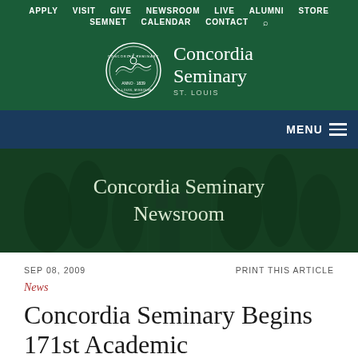APPLY  VISIT  GIVE  NEWSROOM  LIVE  ALUMNI  STORE  SEMNET  CALENDAR  CONTACT
[Figure (logo): Concordia Seminary St. Louis logo with circular seal and text]
MENU
Concordia Seminary Newsroom
SEP 08, 2009    PRINT THIS ARTICLE
News
Concordia Seminary Begins 171st Academic